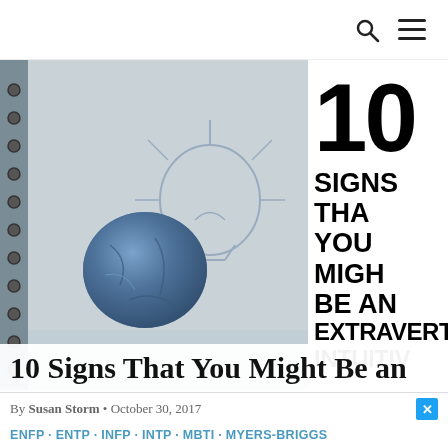Search and Menu icons
[Figure (photo): A crumpled blue paper ball resting on a spiral notebook with sketched light bulb drawings, suggesting creative thinking or brainstorming.]
10 SIGNS THAT YOU MIGHT BE AN EXTRAVERTED INTUITIVE
10 Signs That You Might Be an Extraverted Intuitive
By Susan Storm • October 30, 2017
ENFP · ENTP · INFP · INTP · MBTI · MYERS-BRIGGS